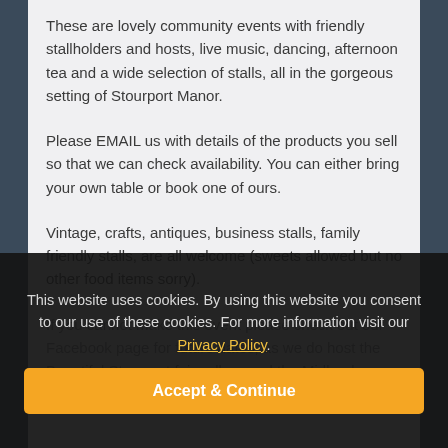These are lovely community events with friendly stallholders and hosts, live music, dancing, afternoon tea and a wide selection of stalls, all in the gorgeous setting of Stourport Manor.
Please EMAIL us with details of the products you sell so that we can check availability. You can either bring your own table or book one of ours.
Vintage, crafts, antiques, business stalls, family friendly stalls, are all welcome (sweets allowed but no other food items sorry).
If you cannot make this event please check out our Facebook page for future dates, as we do host the Beautiful Stourport fairs all around the Midlands...
This website uses cookies. By using this website you consent to our use of these cookies. For more information visit our Privacy Policy.
Accept & Continue